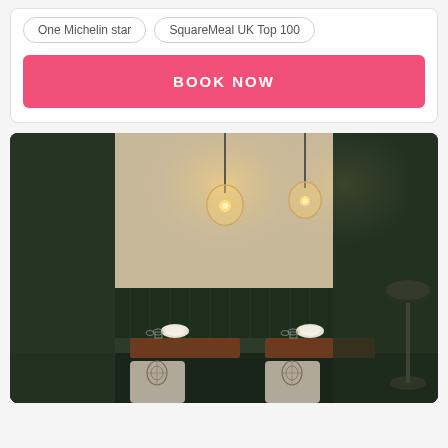One Michelin star
SquareMeal UK Top 100
BOOK NOW
[Figure (photo): Interior of a fine dining restaurant showing two dining tables with place settings, patterned upholstered chairs, a dark green tufted banquette, beige textured wall panels, and two warm pendant globe lights hanging from the ceiling. A metallic floor lamp is visible on the right side.]